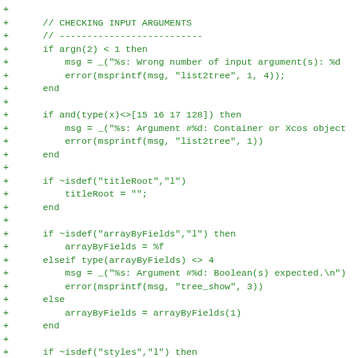Code diff showing input argument checking logic in Scilab, including checks for argn, type(x), titleRoot, arrayByFields, and styles variables with corresponding error messages.